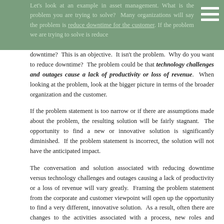Let's look at an example in asset management. What is the problem you are trying to solve? Many organizations will say the problem is reduce downtime for the customer. If the problem we are trying to solve is reduce downtime?
downtime? This is an objective. It isn't the problem. Why do you want to reduce downtime? The problem could be that technology challenges and outages cause a lack of productivity or loss of revenue. When looking at the problem, look at the bigger picture in terms of the broader organization and the customer.
If the problem statement is too narrow or if there are assumptions made about the problem, the resulting solution will be fairly stagnant. The opportunity to find a new or innovative solution is significantly diminished. If the problem statement is incorrect, the solution will not have the anticipated impact.
The conversation and solution associated with reducing downtime versus technology challenges and outages causing a lack of productivity or a loss of revenue will vary greatly. Framing the problem statement from the corporate and customer viewpoint will open up the opportunity to find a very different, innovative solution. As a result, often there are changes to the activities associated with a process, new roles and responsibilities identified, additional processes implemented, and existing process deficiencies illuminated.
Many IT organizations struggle with the concept of framing the problem based on the company and the customer. They worry that the solution will